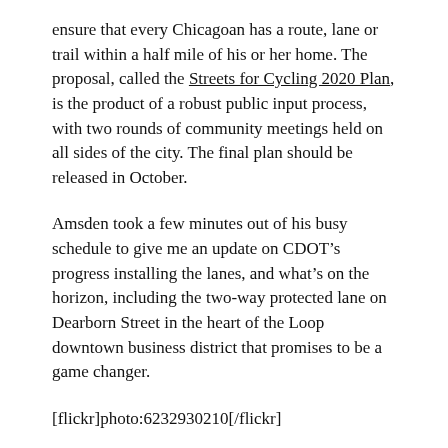ensure that every Chicagoan has a route, lane or trail within a half mile of his or her home. The proposal, called the Streets for Cycling 2020 Plan, is the product of a robust public input process, with two rounds of community meetings held on all sides of the city. The final plan should be released in October.
Amsden took a few minutes out of his busy schedule to give me an update on CDOT’s progress installing the lanes, and what’s on the horizon, including the two-way protected lane on Dearborn Street in the heart of the Loop downtown business district that promises to be a game changer.
[flickr]photo:6232930210[/flickr]
Buffered Lane on the 2300 block of West Jackson.